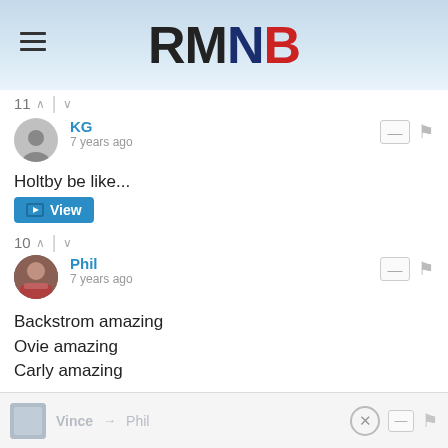RMNB
11 ∧ | ∨
KG
7 years ago
Holtby be like...
View
10 ∧ | ∨
Phil
7 years ago
Backstrom amazing
Ovie amazing
Carly amazing

Death to skycam
8 ∧ | ∨
Vince → Phil